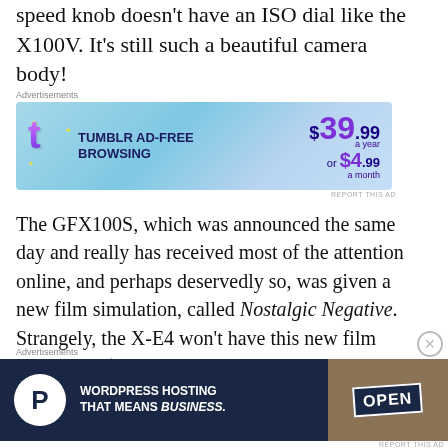speed knob doesn't have an ISO dial like the X100V. It's still such a beautiful camera body!
[Figure (screenshot): Tumblr ad banner: 'Tumblr Ad-Free Browsing $39.99 a year or $4.99 a month']
The GFX100S, which was announced the same day and really has received most of the attention online, and perhaps deservedly so, was given a new film simulation, called Nostalgic Negative. Strangely, the X-E4 won't have this new film simulation (but it will have Classic Negative and Eterna Bleach Bypass).
[Figure (screenshot): WordPress Hosting ad banner: 'WordPress Hosting That Means BUSINESS.' with an OPEN sign image]